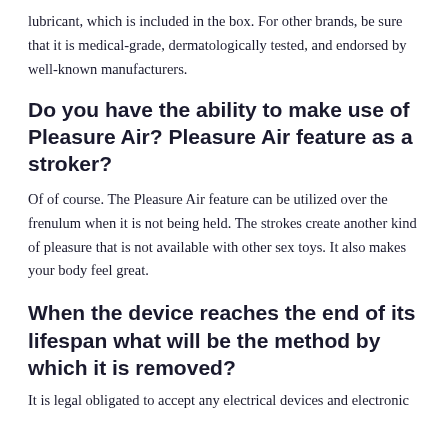lubricant, which is included in the box. For other brands, be sure that it is medical-grade, dermatologically tested, and endorsed by well-known manufacturers.
Do you have the ability to make use of Pleasure Air? Pleasure Air feature as a stroker?
Of of course. The Pleasure Air feature can be utilized over the frenulum when it is not being held. The strokes create another kind of pleasure that is not available with other sex toys. It also makes your body feel great.
When the device reaches the end of its lifespan what will be the method by which it is removed?
It is legal obligated to accept any electrical devices and electronic